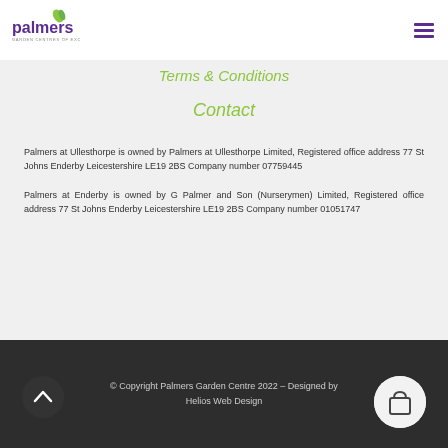Palmers Garden Centres of Excellence — navigation header
Terms & Conditions
Contact
Palmers at Ullesthorpe is owned by Palmers at Ullesthorpe Limited, Registered office address 77 St Johns Enderby Leicestershire LE19 2BS Company number 07759445
Palmers at Enderby is owned by G Palmer and Son (Nurserymen) Limited, Registered office address 77 St Johns Enderby Leicestershire LE19 2BS Company number 01051747
© Copyright Palmers Garden Centre 2022 – Designed by Helios Web Design